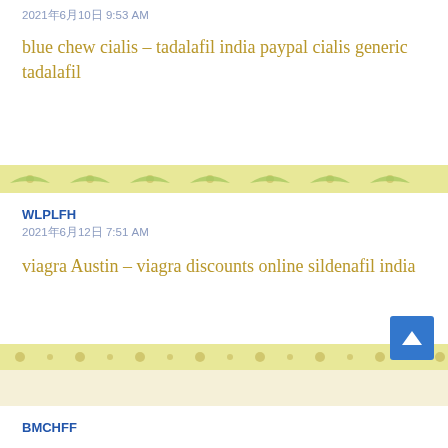2021年6月10日 9:53 AM
blue chew cialis – tadalafil india paypal cialis generic tadalafil
WLPLFH
2021年6月12日 7:51 AM
viagra Austin – viagra discounts online sildenafil india
BMCHFF